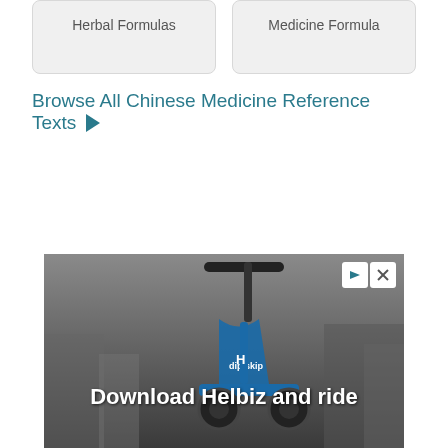Herbal Formulas
Medicine Formula
Browse All Chinese Medicine Reference Texts ▶
[Figure (screenshot): Advertisement banner showing a scooter image with text 'Download Helbiz and ride', with close and skip ad controls in the top right corner.]